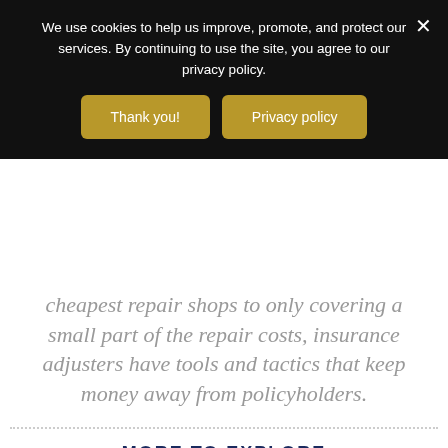We use cookies to help us improve, promote, and protect our services. By continuing to use the site, you agree to our privacy policy.
cheapest repair shops to only covering a small part of the repair costs, insurance adjusters have tools and tactics that keep money away from policyholders.
MORE TO EXPLORE
IS HIRING AN ATTORNEY WORTH IT? (CAR ACCIDENT CASE EDITION)